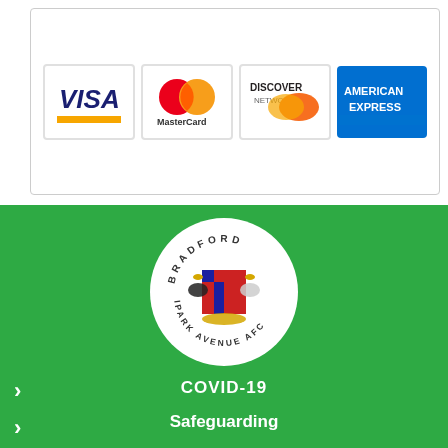[Figure (logo): Payment card logos: Visa, MasterCard, Discover Network, American Express]
[Figure (logo): Bradford Park Avenue AFC circular club crest logo on green background]
COVID-19
Safeguarding